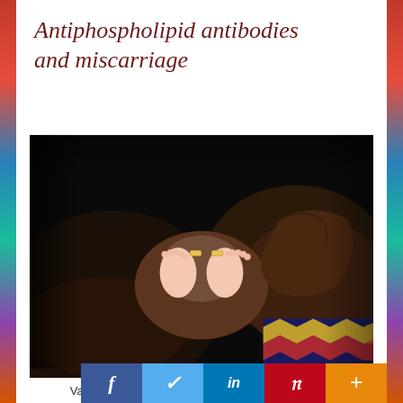Antiphospholipid antibodies and miscarriage
[Figure (photo): Close-up photograph of adult dark-skinned hands cupping tiny newborn baby feet with rings visible on the adult's fingers.]
Various types and levels of aPL in your system can